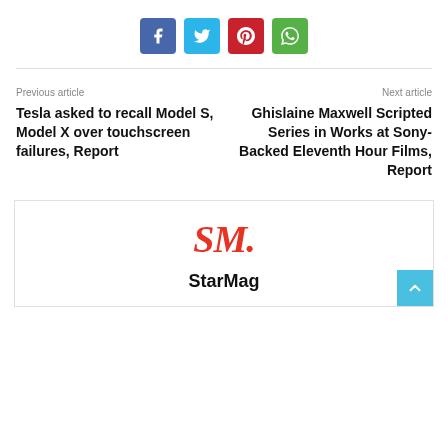[Figure (other): Social media share buttons: Facebook (blue), Twitter (cyan), Pinterest (red), WhatsApp (green)]
Previous article
Tesla asked to recall Model S, Model X over touchscreen failures, Report
Next article
Ghislaine Maxwell Scripted Series in Works at Sony-Backed Eleventh Hour Films, Report
[Figure (logo): StarMag logo with stylized SM. in red italic and bold text StarMag below]